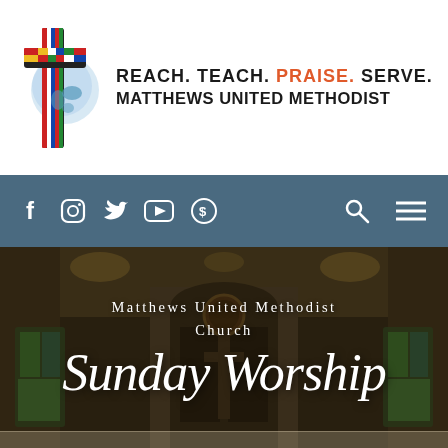[Figure (logo): Matthews United Methodist Church logo with colorful cross and globe/world imagery, with tagline REACH. TEACH. PRAISE. SERVE. MATTHEWS UNITED METHODIST]
REACH. TEACH. PRAISE. SERVE. MATTHEWS UNITED METHODIST
[Figure (screenshot): Navigation bar with social media icons (Facebook, Instagram, Twitter, YouTube, and a donation/email icon) on left, and search and hamburger menu icons on right, on a teal/steel blue background]
[Figure (photo): Interior of Matthews United Methodist Church sanctuary showing entrance doors with stained glass windows on the sides, wreath decoration, and warm ceiling lights. Overlaid with text 'Matthews United Methodist Church' and 'Sunday Worship' in script font.]
Matthews United Methodist Church
Sunday Worship